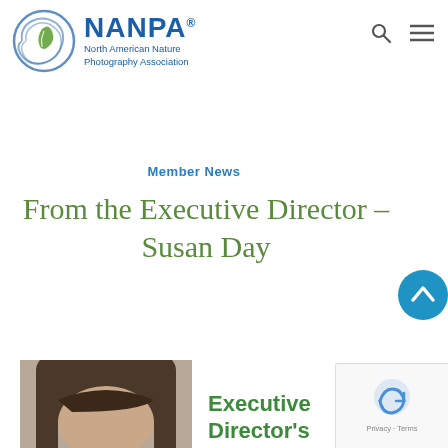[Figure (logo): NANPA logo: circular blue swirl with green leaf motif, beside text 'NANPA' in large bold blue, with 'North American Nature Photography Association' beneath]
NANPA North American Nature Photography Association
Member News
From the Executive Director – Susan Day
[Figure (photo): Partial photo of a woman with brown hair, cropped at bottom of page]
Executive Director's